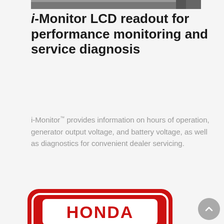[Figure (photo): Partial photo of i-Monitor LCD device, cropped at top of page]
i-Monitor LCD readout for performance monitoring and service diagnosis
i-Monitor™ provides information on hours of operation, generator output voltage, and battery voltage, as well as diagnostics for convenient dealer servicing.
[Figure (logo): Honda 3 Year Warranty badge — red rounded rectangle with white HONDA text box, large stylized '3' and 'YEAR WARRANTY' text in red and white]